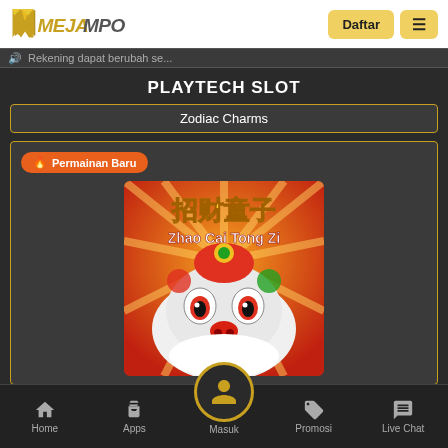[Figure (logo): MejaMPO logo with stylized M and text]
Daftar
≡
Rekening dapat berubah se...
PLAYTECH SLOT
Zodiac Charms
🔥 Permainan Baru
[Figure (screenshot): Zhao Cai Tong Zi slot game thumbnail showing Chinese lion dance character with Chinese characters and game title]
Zhao Cai Tong Zi
Home  Apps  Masuk  Promosi  Live Chat